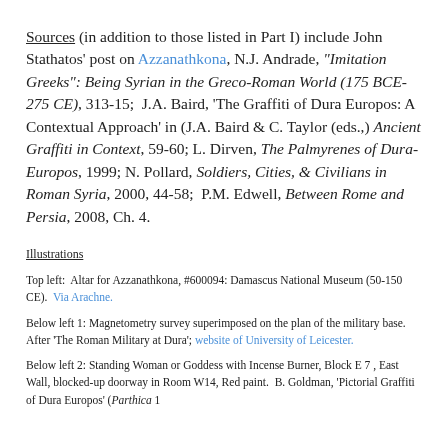Sources (in addition to those listed in Part I) include John Stathatos' post on Azzanathkona, N.J. Andrade, "Imitation Greeks": Being Syrian in the Greco-Roman World (175 BCE-275 CE), 313-15;  J.A. Baird, 'The Graffiti of Dura Europos: A Contextual Approach' in (J.A. Baird & C. Taylor (eds.,) Ancient Graffiti in Context, 59-60; L. Dirven, The Palmyrenes of Dura-Europos, 1999; N. Pollard, Soldiers, Cities, & Civilians in Roman Syria, 2000, 44-58;  P.M. Edwell, Between Rome and Persia, 2008, Ch. 4.
Illustrations
Top left:  Altar for Azzanathkona, #600094: Damascus National Museum (50-150 CE).  Via Arachne.
Below left 1: Magnetometry survey superimposed on the plan of the military base.  After 'The Roman Military at Dura'; website of University of Leicester.
Below left 2: Standing Woman or Goddess with Incense Burner, Block E 7 , East Wall, blocked-up doorway in Room W14, Red paint.  B. Goldman, 'Pictorial Graffiti of Dura Europos' (Parthica 1